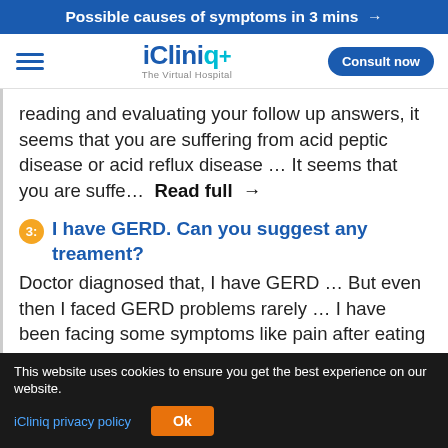Possible causes of symptoms in 3 mins →
[Figure (logo): iCliniq+ The Virtual Hospital logo with hamburger menu and Consult now button]
reading and evaluating your follow up answers, it seems that you are suffering from acid peptic disease or acid reflux disease … It seems that you are suffe…  Read full →
3: I have GERD. Can you suggest any treament?
Doctor diagnosed that, I have GERD … But even then I faced GERD problems rarely … I have been facing some symptoms like pain after eating food, sometimes nausea but no vomiting, heartburn, indigestion, fatigue,
This website uses cookies to ensure you get the best experience on our website.
iCliniq privacy policy   Ok